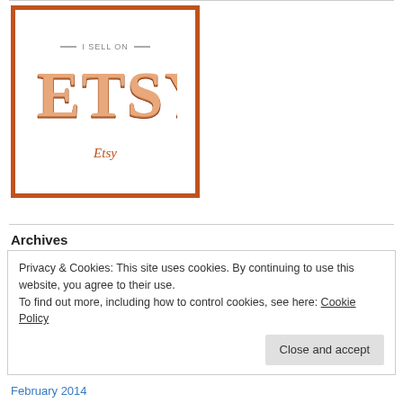[Figure (logo): Etsy 'I Sell On' badge with orange border. Large stylized text ETSY in retro 3D orange/tan letters, with 'I SELL ON' in small gray caps above and 'Etsy' in orange italic below.]
Archives
Privacy & Cookies: This site uses cookies. By continuing to use this website, you agree to their use.
To find out more, including how to control cookies, see here: Cookie Policy
Close and accept
February 2014